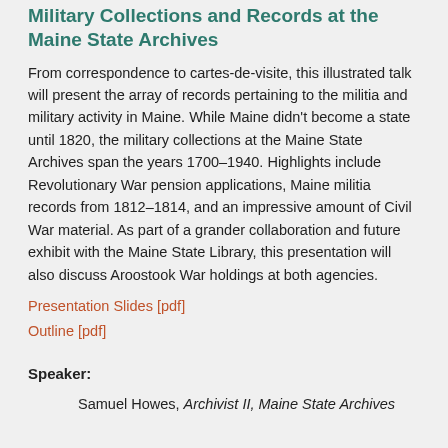Military Collections and Records at the Maine State Archives
From correspondence to cartes-de-visite, this illustrated talk will present the array of records pertaining to the militia and military activity in Maine. While Maine didn't become a state until 1820, the military collections at the Maine State Archives span the years 1700–1940. Highlights include Revolutionary War pension applications, Maine militia records from 1812–1814, and an impressive amount of Civil War material. As part of a grander collaboration and future exhibit with the Maine State Library, this presentation will also discuss Aroostook War holdings at both agencies.
Presentation Slides [pdf]
Outline [pdf]
Speaker:
Samuel Howes, Archivist II, Maine State Archives